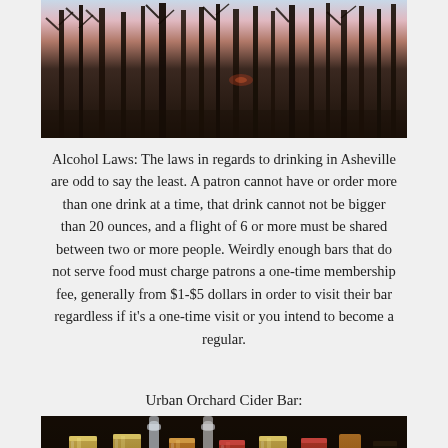[Figure (photo): Dark winter forest scene with bare trees against a twilight sky in pink and blue hues.]
Alcohol Laws: The laws in regards to drinking in Asheville are odd to say the least. A patron cannot have or order more than one drink at a time, that drink cannot not be bigger than 20 ounces, and a flight of 6 or more must be shared between two or more people. Weirdly enough bars that do not serve food must charge patrons a one-time membership fee, generally from $1-$5 dollars in order to visit their bar regardless if it's a one-time visit or you intend to become a regular.
Urban Orchard Cider Bar:
[Figure (photo): Close-up photo of cider flight glasses filled with golden and red ciders on a bar counter.]